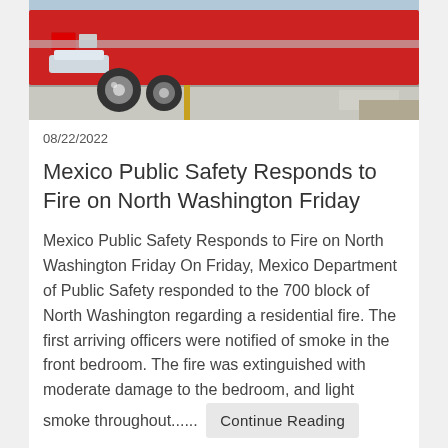[Figure (photo): Rear/side view of a red fire truck parked on a road with a sidewalk and curb visible in the background]
08/22/2022
Mexico Public Safety Responds to Fire on North Washington Friday
Mexico Public Safety Responds to Fire on North Washington Friday On Friday, Mexico Department of Public Safety responded to the 700 block of North Washington regarding a residential fire. The first arriving officers were notified of smoke in the front bedroom. The fire was extinguished with moderate damage to the bedroom, and light smoke throughout...... Continue Reading